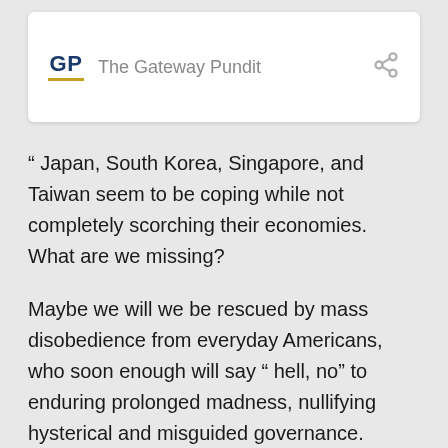GP  The Gateway Pundit
“ Japan, South Korea, Singapore, and Taiwan seem to be coping while not completely scorching their economies.  What are we missing?
Maybe we will we be rescued by mass disobedience from everyday Americans, who soon enough will say “ hell, no” to enduring prolonged madness, nullifying hysterical and misguided governance.
Who shall soothe the unbridled rage of everyday Americans when they lose their livelihoods, their homes, their savings, and their communities.